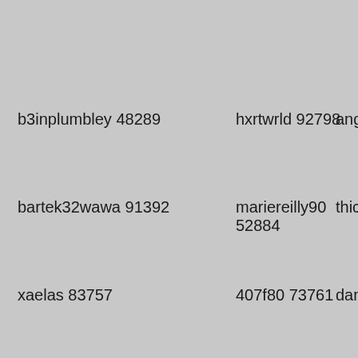b3inplumbley 48289
hxrtwrld 92798
angelca...
bartek32wawa 91392
mariereilly90 52884
thicccoo...
xaelas 83757
407f80 73761
dannyo2...
bigshawnd 73963
small18xxx 24774
gabriell...
fapdave 24375
stoner420brujaa 43859
teezieba...